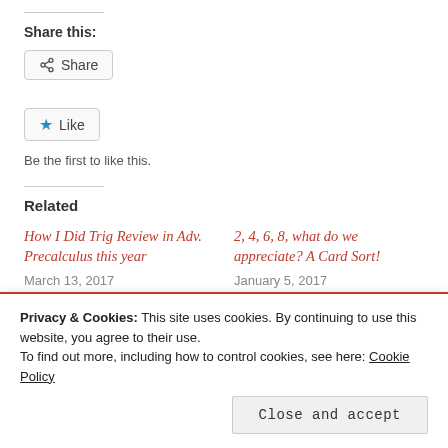Share this:
[Figure (other): Share button with share icon]
[Figure (other): Like button with blue star icon]
Be the first to like this.
Related
How I Did Trig Review in Adv. Precalculus this year
March 13, 2017
2, 4, 6, 8, what do we appreciate? A Card Sort!
January 5, 2017
Privacy & Cookies: This site uses cookies. By continuing to use this website, you agree to their use.
To find out more, including how to control cookies, see here: Cookie Policy
Close and accept